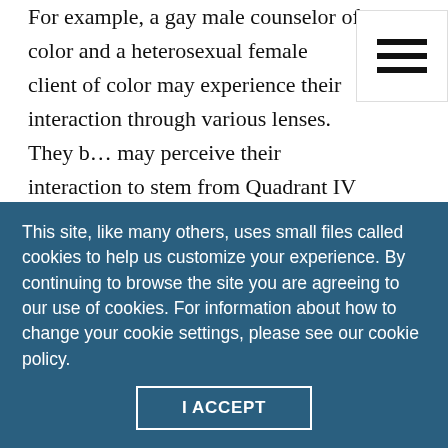For example, a gay male counselor of color and a heterosexual female client of color may experience their interaction through various lenses. They both may perceive their interaction to stem from Quadrant IV because of shared racial identities — a common experience with respect to issues of racism. Alternatively, the client may consider their interaction from a Quadrant I perspective because of gender differences. The client may feel displaced and at a disadvantage because of the counselor's male
This site, like many others, uses small files called cookies to help us customize your experience. By continuing to browse the site you are agreeing to our use of cookies. For information about how to change your cookie settings, please see our cookie policy.